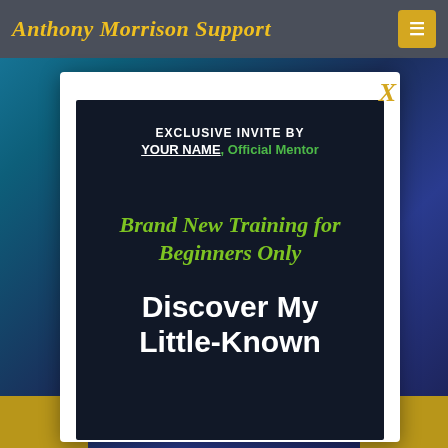Anthony Morrison Support
[Figure (screenshot): A dark navy/blue floral background with a teal-to-blue gradient overlay, serving as the page background.]
EXCLUSIVE INVITE BY YOUR NAME, Official Mentor
Brand New Training for Beginners Only
Discover My Little-Known